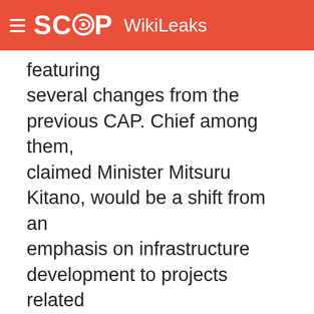SCOOP WikiLeaks
featuring several changes from the previous CAP. Chief among them, claimed Minister Mitsuru Kitano, would be a shift from an emphasis on infrastructure development to projects related to promoting economic growth, poverty reduction, and institutional reform. The new CAP was also formulated in Vietnam with greater input from the GVN. Kitano also noted the need to review developments in several areas of